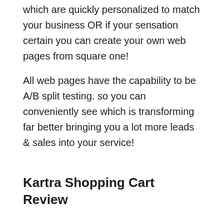which are quickly personalized to match your business OR if your sensation certain you can create your own web pages from square one!
All web pages have the capability to be A/B split testing. so you can conveniently see which is transforming far better bringing you a lot more leads & sales into your service!
Kartra Shopping Cart Review